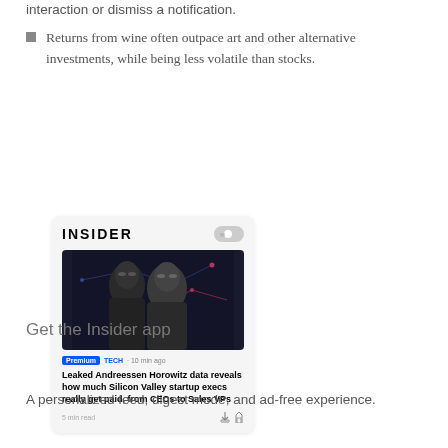interaction or dismiss a notification.
Returns from wine often outpace art and other alternative investments, while being less volatile than stocks.
[Figure (screenshot): Screenshot of the Insider app showing an article: 'Leaked Andreessen Horowitz data reveals how much Silicon Valley startup execs really get paid, from CEOs to Sales VPs' with Premium and TECH tags, 10 min ago, 5 min read.]
Get the Insider app
A personalized feed, digest mode, and ad-free experience.